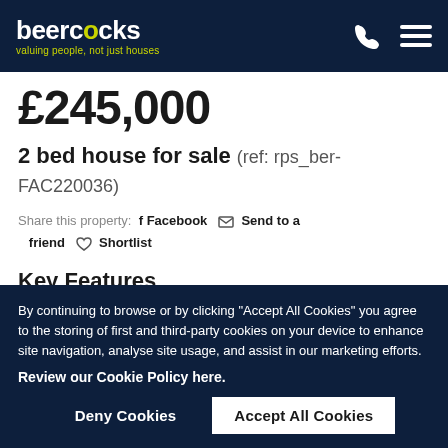beercocks – valuing people, not just houses
£245,000
2 bed house for sale (ref: rps_ber-FAC220036)
Share this property: f Facebook ✉ Send to a friend ♡ Shortlist
Key Features
By continuing to browse or by clicking "Accept All Cookies" you agree to the storing of first and third-party cookies on your device to enhance site navigation, analyse site usage, and assist in our marketing efforts.
Review our Cookie Policy here.
Deny Cookies | Accept All Cookies